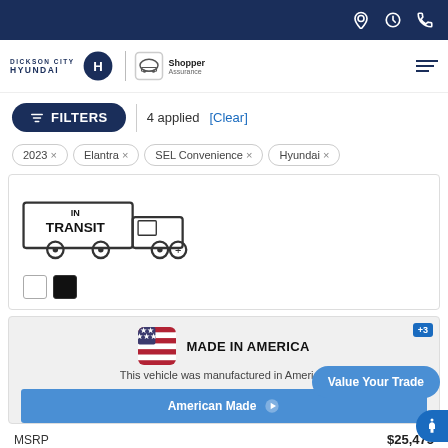Top navigation bar with location, hours, and phone icons
[Figure (logo): Dickson City Hyundai logo with Hyundai H emblem and Shopper Assurance badge]
FILTERS | 4 applied [Clear]
2023 ×
Elantra ×
SEL Convenience ×
Hyundai ×
[Figure (illustration): IN TRANSIT truck illustration]
[Figure (illustration): Color swatches: white and black]
[Figure (infographic): Made in America badge with US flag icon and +3 indicator]
This vehicle was manufactured in America.
American Made ▶
Value Your Trade
MSRP
$25,475